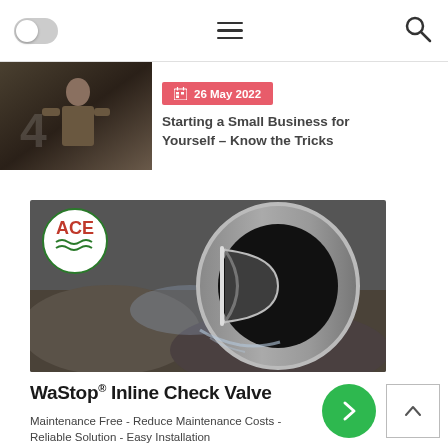Navigation bar with toggle, hamburger menu, and search icon
[Figure (photo): Article thumbnail showing a man working in an industrial environment]
26 May 2022
Starting a Small Business for Yourself – Know the Tricks
[Figure (photo): ACE WaStop inline check valve installed in a pipe outlet on rocky ground with water flowing]
WaStop® Inline Check Valve
Maintenance Free - Reduce Maintenance Costs - Reliable Solution - Easy Installation